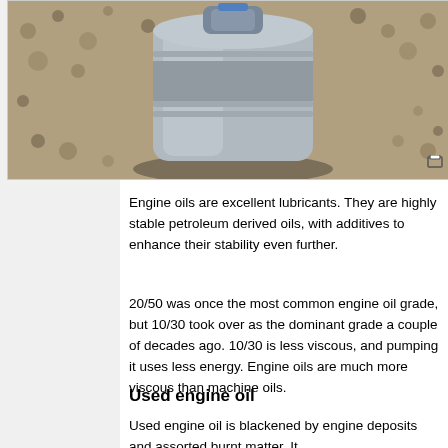[Figure (photo): Photograph of a silver/grey metal container or canister sitting on gravel/sand ground, viewed from above at an angle. The container appears to be a round or cylindrical oil container.]
Engine oils are excellent lubricants. They are highly stable petroleum derived oils, with additives to enhance their stability even further.
20/50 was once the most common engine oil grade, but 10/30 took over as the dominant grade a couple of decades ago. 10/30 is less viscous, and pumping it uses less energy. Engine oils are much more viscous than machine oils.
Used engine oil
Used engine oil is blackened by engine deposits and assorted burnt matter. It